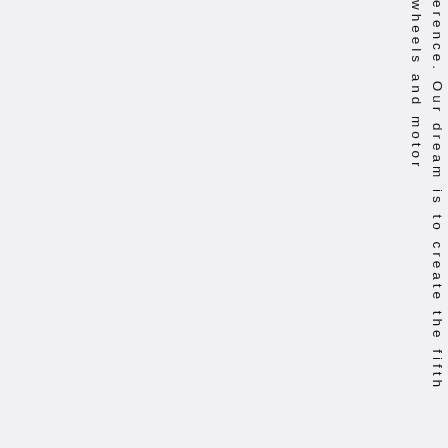erence. Our dream is to create the fifth wheels and motor